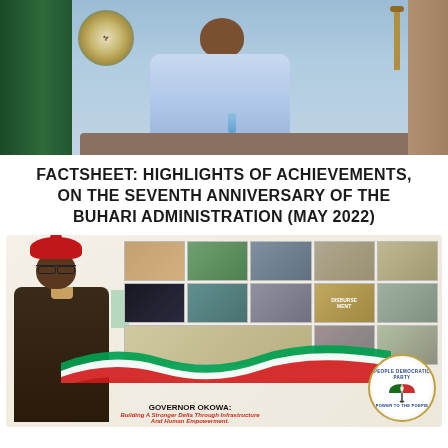[Figure (photo): Photo of a seated official in light blue traditional attire at a desk, with a green curtain/background on the left and a Nigerian government seal visible. A microphone stand is visible on the right.]
FACTSHEET: HIGHLIGHTS OF ACHIEVEMENTS, ON THE SEVENTH ANNIVERSARY OF THE BUHARI ADMINISTRATION (MAY 2022)
[Figure (infographic): Promotional banner for Governor Okowa of Delta State. Shows the governor in traditional attire with a red cap on the left, a grid of 15 project photos in the upper right, decorative green-white-red ribbon waves across the bottom, a PDP (Peoples Democratic Party) logo in the lower right, and text reading 'GOVERNOR OKOWA: Building A Stronger Delta Through Infrastructure And Human Empowerment.']